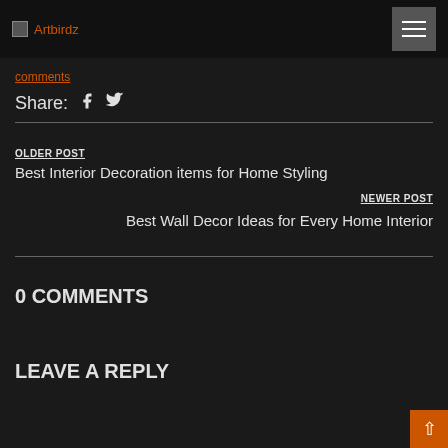Artbirdz
comments
Share: f
OLDER POST
Best Interior Decoration items for Home Styling
NEWER POST
Best Wall Decor Ideas for Every Home Interior
0 COMMENTS
LEAVE A REPLY